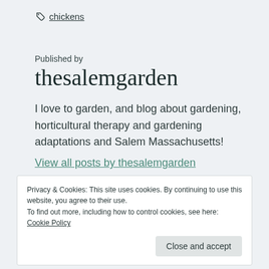chickens
Published by
thesalemgarden
I love to garden, and blog about gardening, horticultural therapy and gardening adaptations and Salem Massachusetts!
View all posts by thesalemgarden
Privacy & Cookies: This site uses cookies. By continuing to use this website, you agree to their use.
To find out more, including how to control cookies, see here: Cookie Policy
Close and accept